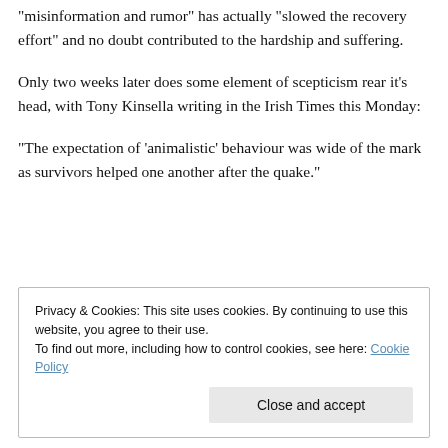“misinformation and rumor” has actually “slowed the recovery effort” and no doubt contributed to the hardship and suffering.
Only two weeks later does some element of scepticism rear it’s head, with Tony Kinsella writing in the Irish Times this Monday:
“The expectation of ‘animalistic’ behaviour was wide of the mark as survivors helped one another after the quake.”
Privacy & Cookies: This site uses cookies. By continuing to use this website, you agree to their use.
To find out more, including how to control cookies, see here: Cookie Policy
Close and accept